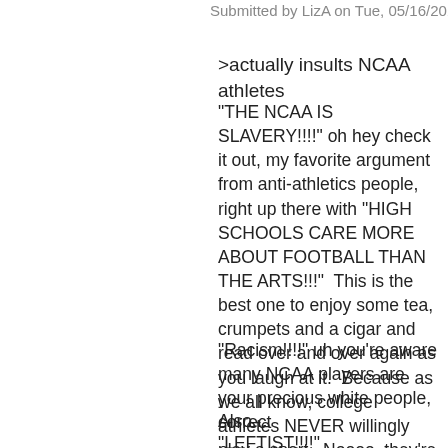Submitted by LizA on Tue, 05/16/2017 - 21:27
>actually insults NCAA athletes
"THE NCAA IS SLAVERY!!!!" oh hey check it out, my favorite argument from anti-athletics people, right up there with "HIGH SCHOOLS CARE MORE ABOUT FOOTBALL THAN THE ARTS!!!"  This is the best one to enjoy some tea, crumpets and a cigar and read over and over again as you laugh at it.  Because as we all know, college athletes NEVER willingly play a sport.  Noooo, they're always forced by those evil recruiters!!!!!
"Racism!!!!" uh you're aware many NCAA players are your precious white people, correct
Also...
"LEFTIST!!!!"